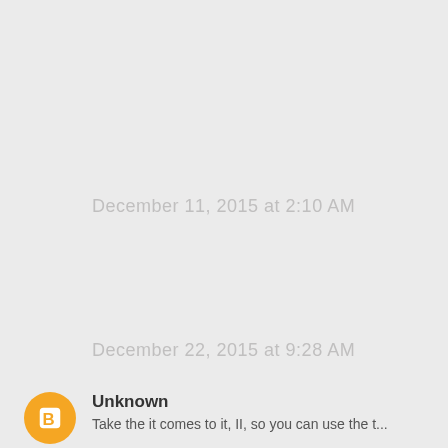December 11, 2015 at 2:10 AM
December 22, 2015 at 9:28 AM
Unknown
Take the it comes to it, II, so you can use the t...